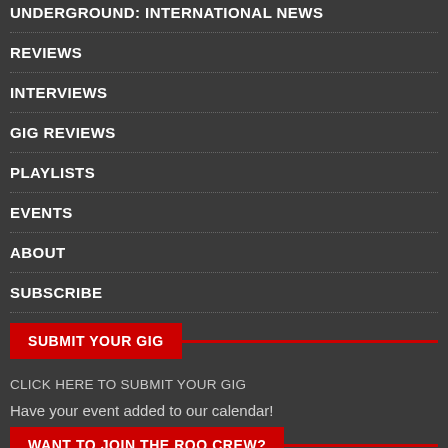UNDERGROUND: INTERNATIONAL NEWS
REVIEWS
INTERVIEWS
GIG REVIEWS
PLAYLISTS
EVENTS
ABOUT
SUBSCRIBE
SUBMIT YOUR GIG
CLICK HERE TO SUBMIT YOUR GIG
Have your event added to our calendar!
WANT TO JOIN THE ROO CREW?
CLICK HERE FOR YOUR CHANCE TO CONTRIBUTE